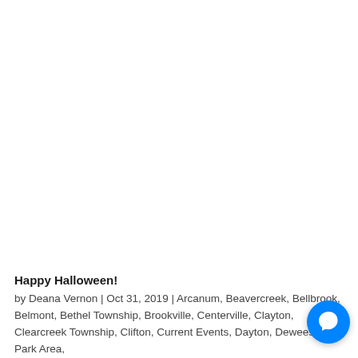Happy Halloween!
by Deana Vernon | Oct 31, 2019 | Arcanum, Beavercreek, Bellbrook, Belmont, Bethel Township, Brookville, Centerville, Clayton, Clearcreek Township, Clifton, Current Events, Dayton, Deweese Park Area,